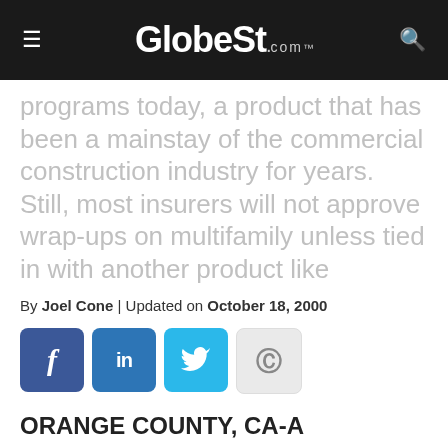GlobeSt.com
programs today, a product that has been a mainstay of the commercial construction industry for years. Still, most insurers will not approve wrap-ups on multifamily unless tied in with another product like
By Joel Cone | Updated on October 18, 2000
[Figure (infographic): Social sharing buttons: Facebook (f), LinkedIn (in), Twitter (bird icon), Copyright symbol]
ORANGE COUNTY, CA-A mainstay of the commercial development industry for many years, wrap-up liability